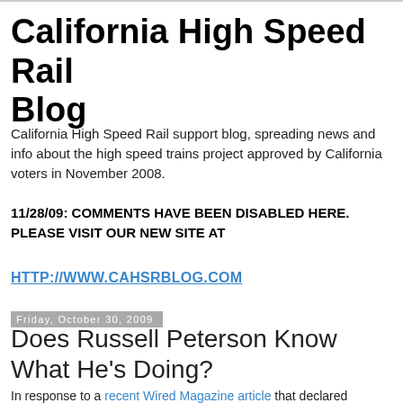California High Speed Rail Blog
California High Speed Rail support blog, spreading news and info about the high speed trains project approved by California voters in November 2008.
11/28/09: COMMENTS HAVE BEEN DISABLED HERE. PLEASE VISIT OUR NEW SITE AT
HTTP://WWW.CAHSRBLOG.COM
Friday, October 30, 2009
Does Russell Peterson Know What He's Doing?
In response to a recent Wired Magazine article that declared